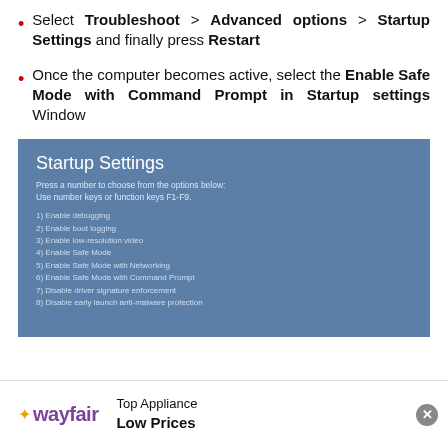Select Troubleshoot > Advanced options > Startup Settings and finally press Restart
Once the computer becomes active, select the Enable Safe Mode with Command Prompt in Startup settings Window
[Figure (screenshot): Windows Startup Settings screen showing options: 1) Enable debugging, 2) Enable boot logging, 3) Enable low-resolution video, 4) Enable Safe Mode, 5) Enable Safe Mode with Networking, 6) Enable Safe Mode with Command Prompt, 7) Disable driver signature enforcement, 8) Disable early launch anti-malware protection]
[Figure (logo): Wayfair advertisement banner with logo and text: Top Appliance Low Prices]